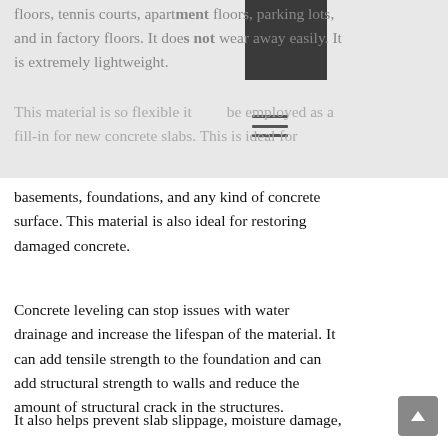floors, tennis courts, apartment floors, parking lots, and in factory floors. It does not wear away easily. It is extremely lightweight.
This material is so flexible it can be employed as a fill-in for new concrete slabs. This is ideal for basements, foundations, and any kind of concrete surface. This material is also ideal for restoring damaged concrete.
Concrete leveling can stop issues with water drainage and increase the lifespan of the material. It can add tensile strength to the foundation and can add structural strength to walls and reduce the amount of structural crack in the structures.
It also helps prevent slab slippage, moisture damage,